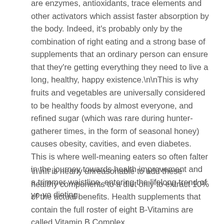are enzymes, antioxidants, trace elements and other activators which assist faster absorption by the body. Indeed, it's probably only by the combination of right eating and a strong base of supplements that an ordinary person can ensure that they're getting everything they need to live a long, healthy, happy existence.

This is why fruits and vegetables are universally considered to be healthy foods by almost everyone, and refined sugar (which was rare during hunter-gatherer times, in the form of seasonal honey) causes obesity, cavities, and even diabetes. This is where well-meaning eaters so often falter in the journey towards health improvement and a trimmer waistline, entering the lifelong trend of yo-yo dieting.
\n\nIt is nearly unreasonable to add these healthy components to a diet only to extract 10% of the actual benefits. Health supplements that contain the full roster of eight B-Vitamins are called Vitamin B Complex